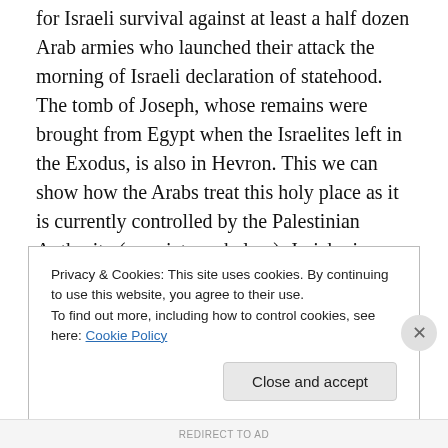for Israeli survival against at least a half dozen Arab armies who launched their attack the morning of Israeli declaration of statehood. The tomb of Joseph, whose remains were brought from Egypt when the Israelites left in the Exodus, is also in Hevron. This we can show how the Arabs treat this holy place as it is currently controlled by the Palestinian Authority (see pictures below). Jericho is beyond the Green Line, is this not a place which Jewish history includes. Rachel's Tomb is beyond the Green Line and when visited by Jewish women, they often come under attack by Arabs and must be protected by the IDF
Privacy & Cookies: This site uses cookies. By continuing to use this website, you agree to their use.
To find out more, including how to control cookies, see here: Cookie Policy
REDIRECT TO AD